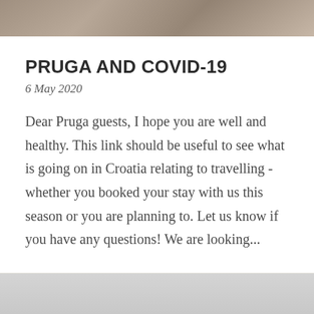[Figure (photo): Top portion of a photo showing outdoor scenery, partially cropped at the top of the page]
PRUGA AND COVID-19
6 May 2020
Dear Pruga guests, I hope you are well and healthy. This link should be useful to see what is going on in Croatia relating to travelling - whether you booked your stay with us this season or you are planning to. Let us know if you have any questions! We are looking...
[Figure (photo): Bottom portion of a gray/light colored photo, partially visible at the bottom of the page]